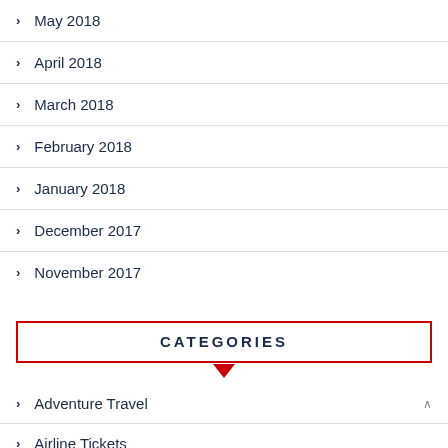May 2018
April 2018
March 2018
February 2018
January 2018
December 2017
November 2017
CATEGORIES
Adventure Travel
Airline Tickets
Beach Vacations